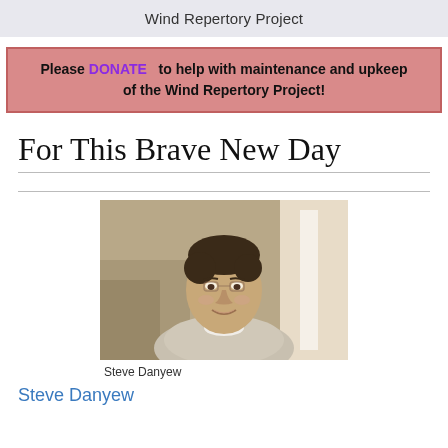Wind Repertory Project
Please DONATE to help with maintenance and upkeep of the Wind Repertory Project!
For This Brave New Day
[Figure (photo): Sepia-toned portrait photo of Steve Danyew, a young man with dark hair smiling, wearing a light-colored polo shirt, in an indoor setting]
Steve Danyew
Steve Danyew